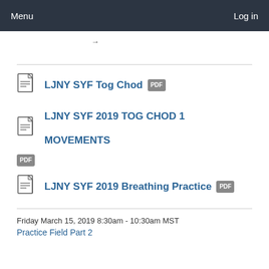Menu    Log in
→
LJNY SYF Tog Chod PDF
LJNY SYF 2019 TOG CHOD 1 MOVEMENTS PDF
LJNY SYF 2019 Breathing Practice PDF
Friday March 15, 2019 8:30am - 10:30am MST
Practice Field Part 2